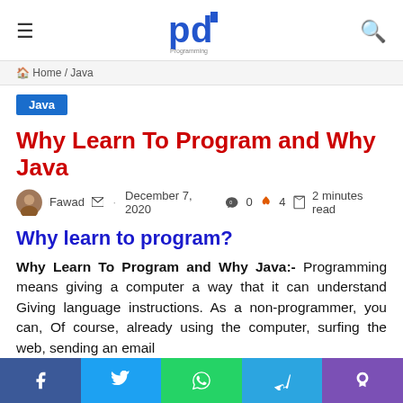Programming Digest — hamburger menu, logo, search icon
Home / Java
Java
Why Learn To Program and Why Java
Fawad · December 7, 2020 · 0 · 4 · 2 minutes read
Why learn to program?
Why Learn To Program and Why Java:- Programming means giving a computer a way that it can understand Giving language instructions. As a non-programmer, you can, Of course, already using the computer, surfing the web, sending an email
Facebook Twitter WhatsApp Telegram Viber